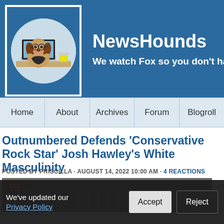NewsHounds - We watch Fox so you don't ha
[Figure (logo): NewsHounds logo: a beagle dog wearing glasses sitting at a laptop with a coffee cup, inside a circle, in a white-bordered box on blue background]
NewsHounds
We watch Fox so you don't ha
Home | About | Archives | Forum | Blogroll
Outnumbered Defends 'Conservative Rock Star' Josh Hawley's White Masculinity
POSTED BY PRISCILLA · AUGUST 14, 2022 10:00 AM · 4 REACTIONS
[Figure (screenshot): Live news broadcast screenshot showing a building exterior, with a red LIVE badge in the top-left corner]
We've updated our Privacy Policy
Accept
Reject